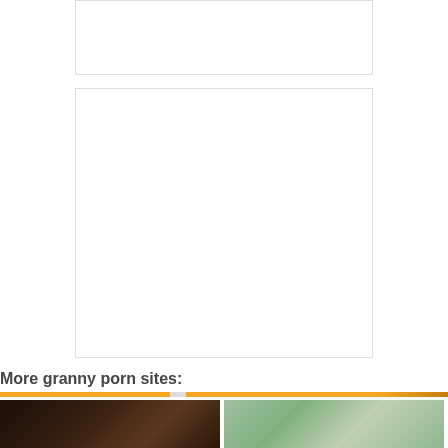[Figure (other): Empty white ad placeholder box, top]
[Figure (other): Empty white ad placeholder box, large]
More granny porn sites:
[Figure (photo): Thumbnail image, dark indoor scene]
[Figure (photo): Thumbnail image, clothing rack scene]